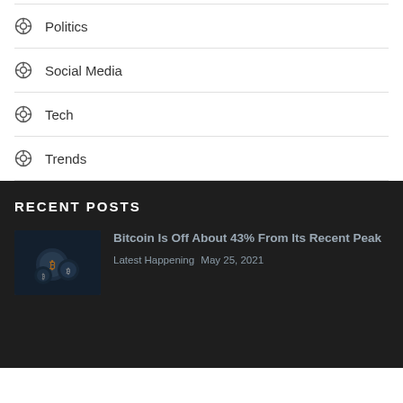Politics
Social Media
Tech
Trends
RECENT POSTS
Bitcoin Is Off About 43% From Its Recent Peak
Latest Happening  May 25, 2021